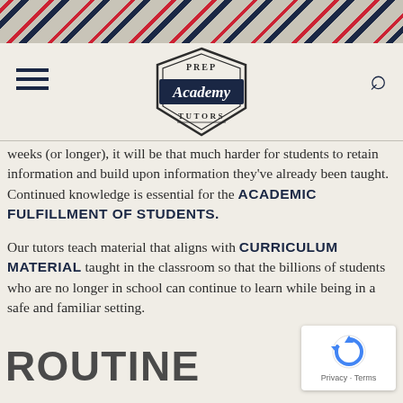[Figure (illustration): Diagonal red, navy, and beige stripe banner at top of page]
[Figure (logo): Prep Academy Tutors logo — shield/badge shape with 'PREP' at top, 'Academy' in script on dark banner, 'TUTORS' at bottom]
weeks (or longer), it will be that much harder for students to retain information and build upon information they've already been taught. Continued knowledge is essential for the ACADEMIC FULFILLMENT OF STUDENTS.
Our tutors teach material that aligns with CURRICULUM MATERIAL taught in the classroom so that the billions of students who are no longer in school can continue to learn while being in a safe and familiar setting.
ROUTINE
[Figure (other): reCAPTCHA badge with rotating arrow icon and 'Privacy - Terms' text]